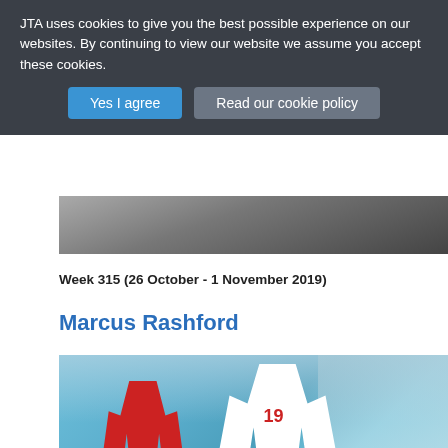JTA uses cookies to give you the best possible experience on our websites. By continuing to view our website we assume you accept these cookies.
Yes I agree
Read our cookie policy
[Figure (photo): Partial dark background image strip visible at top of page content area]
Week 315 (26 October - 1 November 2019)
Marcus Rashford
[Figure (photo): Marcus Rashford wearing England white kit with number 19, mid-action during a football match with a player in red kit in the background and a stadium crowd visible]